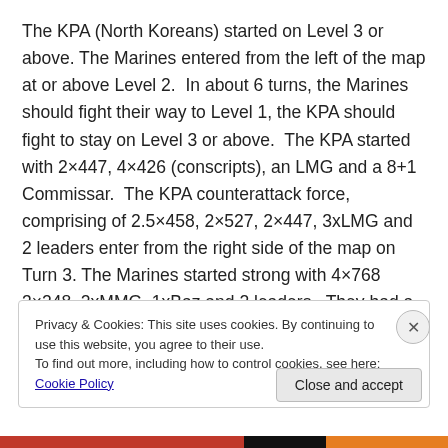The KPA (North Koreans) started on Level 3 or above. The Marines entered from the left of the map at or above Level 2. In about 6 turns, the Marines should fight their way to Level 1, the KPA should fight to stay on Level 3 or above. The KPA started with 2×447, 4×426 (conscripts), an LMG and a 8+1 Commissar. The KPA counterattack force, comprising of 2.5×458, 2×527, 2×447, 3xLMG and 2 leaders enter from the right side of the map on Turn 3. The Marines started strong with 4×768 3×248, 2xMMG, 1xBaz and 2 leaders. They had a reserve platoon coming
Privacy & Cookies: This site uses cookies. By continuing to use this website, you agree to their use.
To find out more, including how to control cookies, see here: Cookie Policy